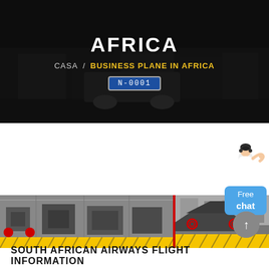AFRICA
CASA / BUSINESS PLANE IN AFRICA
[Figure (screenshot): Hero banner with dark background showing industrial machinery, title AFRICA and breadcrumb navigation CASA / BUSINESS PLANE IN AFRICA with a blue license plate]
[Figure (illustration): Customer service representative with Free chat button widget in the top right corner]
[Figure (photo): Two photos of industrial machinery in a factory setting with yellow accents on the floor]
[Figure (other): Gray circular back-to-top button with upward arrow]
SOUTH AFRICAN AIRWAYS FLIGHT INFORMATION